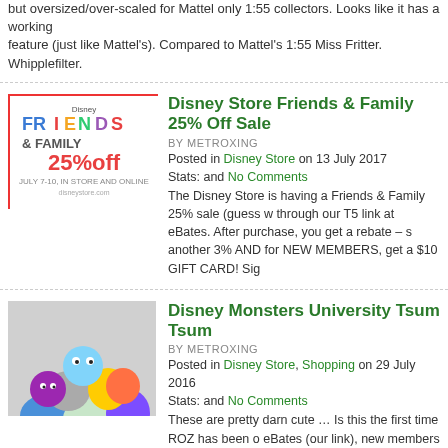but oversized/over-scaled for Mattel only 1:55 collectors. Looks like it has a working feature (just like Mattel's). Compared to Mattel's 1:55 Miss Fritter. Whipplefilter.
Disney Store Friends & Family 25% Off Sale
BY METROXING
Posted in Disney Store on 13 July 2017
Stats: and No Comments
The Disney Store is having a Friends & Family 25% sale (guess w through our T5 link at eBates. After purchase, you get a rebate – s another 3% AND for NEW MEMBERS, get a $10 GIFT CARD! Sig
Disney Monsters University Tsum Tsum
BY METROXING
Posted in Disney Store, Shopping on 29 July 2016
Stats: and No Comments
These are pretty darn cute … Is this the first time ROZ has been o eBates (our link), new members get a $10 gift card with purchase purchases.
Disney Pixar CARS: Disney Store New Diecas
BY METROXING
Posted in Disney Pixar CARS, Disney Store on 11 July 2016
Stats: and 1 Comment
Thanks for the heads up, "Carromato95." No Stall-Todd "The Sho years ago?) Trunk Fresh is also back. The Chip Foose 1:43 CARS eBates (our link), new members get a $10 gift card with purchase.
[…]